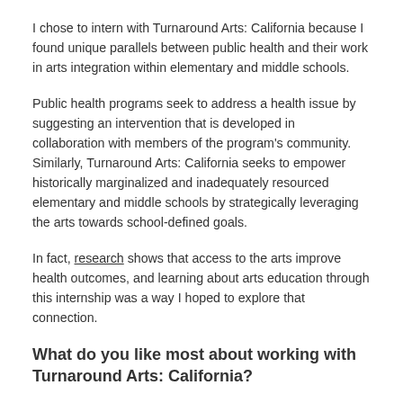I chose to intern with Turnaround Arts: California because I found unique parallels between public health and their work in arts integration within elementary and middle schools.
Public health programs seek to address a health issue by suggesting an intervention that is developed in collaboration with members of the program's community. Similarly, Turnaround Arts: California seeks to empower historically marginalized and inadequately resourced elementary and middle schools by strategically leveraging the arts towards school-defined goals.
In fact, research shows that access to the arts improve health outcomes, and learning about arts education through this internship was a way I hoped to explore that connection.
What do you like most about working with Turnaround Arts: California?